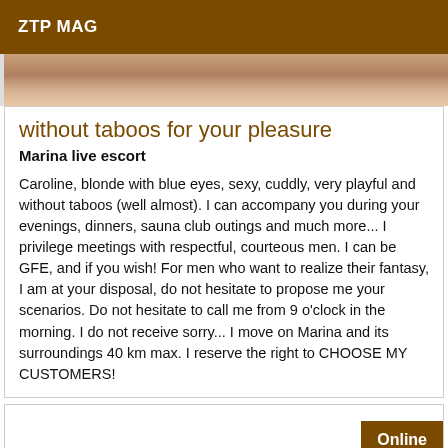ZTP MAG
[Figure (photo): Partial photo strip showing a blurred background, skin tones visible]
without taboos for your pleasure
Marina live escort
Caroline, blonde with blue eyes, sexy, cuddly, very playful and without taboos (well almost). I can accompany you during your evenings, dinners, sauna club outings and much more... I privilege meetings with respectful, courteous men. I can be GFE, and if you wish! For men who want to realize their fantasy, I am at your disposal, do not hesitate to propose me your scenarios. Do not hesitate to call me from 9 o'clock in the morning. I do not receive sorry... I move on Marina and its surroundings 40 km max. I reserve the right to CHOOSE MY CUSTOMERS!
Online